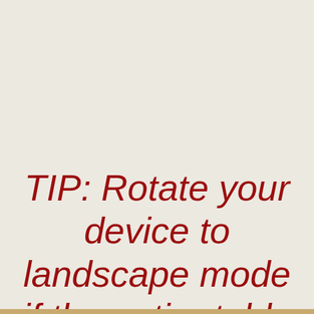TIP: Rotate your device to landscape mode if the entire table is not visable.